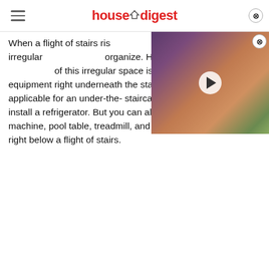housedigest
[Figure (screenshot): Video thumbnail showing a man wearing a purple beanie hat with a play button overlay]
When a flight of stairs rises, the space left behind is often irregular and difficult to organize. However, one hidden advantage of this irregular space is that you can store large equipment right underneath the stairs. This is particularly applicable for an under-the-staircase kitchen, where you can install a refrigerator. But you can also place an arcade machine, pool table, treadmill, and other gym equipment right below a flight of stairs.